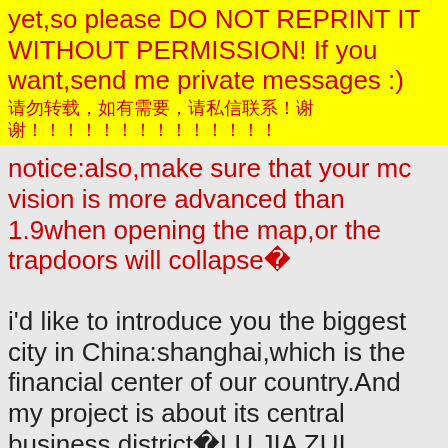yet,so please DO NOT REPRINT IT WITHOUT PERMISSION! If you want,send me private messages :)
[Chinese characters]
notice:also,make sure that your mc vision is more advanced than 1.9when opening the map,or the trapdoors will collapse�
i'd like to introduce you the biggest city in China:shanghai,which is the financial center of our country.And my project is about its central business district�LU JIA ZUI financial district.For every